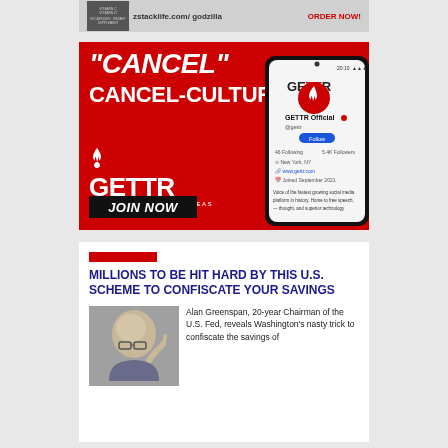[Figure (photo): Top banner ad for zstacklife.com/godzilla supplement with ORDER NOW call to action]
[Figure (photo): GETTR social media platform advertisement with red background, 'CANCEL' CANCEL-CULTURE headline, GETTR logo, phone mockup showing GETTR Official profile, and JOIN NOW button. Tagline: THE MARKETPLACE OF IDEAS]
[Figure (photo): Photo of Alan Greenspan, elderly bald man with glasses, raising his hand]
MILLIONS TO BE HIT HARD BY THIS U.S. SCHEME TO CONFISCATE YOUR SAVINGS
Alan Greenspan, 20-year Chairman of the U.S. Fed, reveals Washington's nasty trick to confiscate the savings of